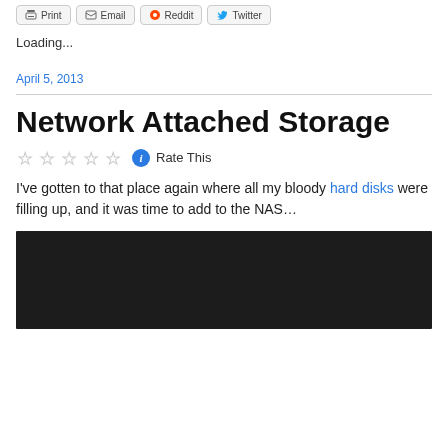[Figure (screenshot): Toolbar with Print, Email, Reddit, Twitter share buttons]
Loading...
April 5, 2013
Network Attached Storage
☆☆☆☆☆ ℹ Rate This
I've gotten to that place again where all my bloody hard disks were filling up, and it was time to add to the NAS…
[Figure (photo): Dark/black image at the bottom of the page]